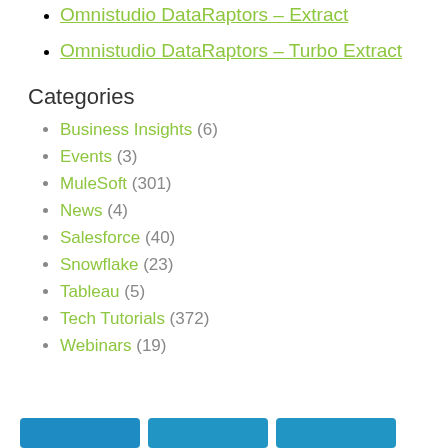Omnistudio DataRaptors – Extract
Omnistudio DataRaptors – Turbo Extract
Categories
Business Insights (6)
Events (3)
MuleSoft (301)
News (4)
Salesforce (40)
Snowflake (23)
Tableau (5)
Tech Tutorials (372)
Webinars (19)